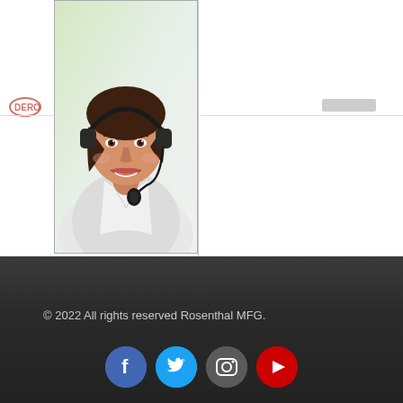[Figure (photo): Woman with headset microphone smiling, wearing white blazer, customer service representative photo]
© 2022 All rights reserved Rosenthal MFG.
[Figure (logo): Facebook circular icon, blue background with white F]
[Figure (logo): Twitter circular icon, cyan/blue background with white bird]
[Figure (logo): Instagram circular icon, dark grey background with camera outline]
[Figure (logo): YouTube circular icon, red background with white play button]